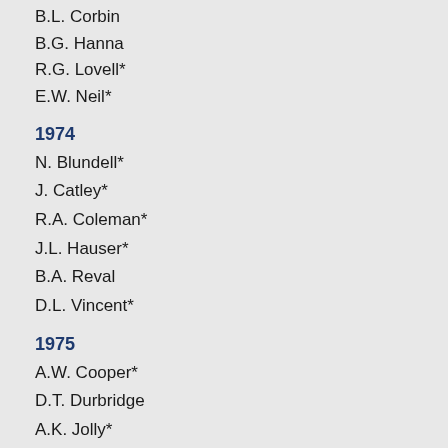B.L. Corbin
B.G. Hanna
R.G. Lovell*
E.W. Neil*
1974
N. Blundell*
J. Catley*
R.A. Coleman*
J.L. Hauser*
B.A. Reval
D.L. Vincent*
1975
A.W. Cooper*
D.T. Durbridge
A.K. Jolly*
F.K. Russell*